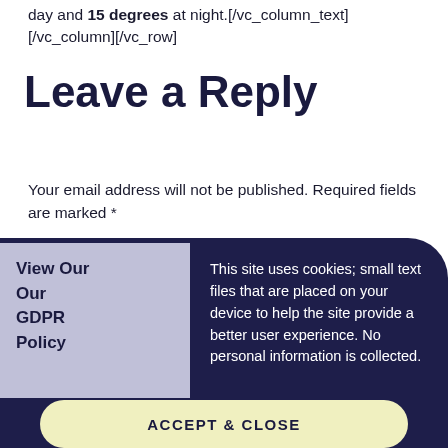day and 15 degrees at night.[/vc_column_text][/vc_column][/vc_row]
Leave a Reply
Your email address will not be published. Required fields are marked *
Comment *
[Figure (other): Comment text area input box with light yellow background and rounded corners]
View Our Our GDPR Policy
This site uses cookies; small text files that are placed on your device to help the site provide a better user experience. No personal information is collected.
ACCEPT & CLOSE